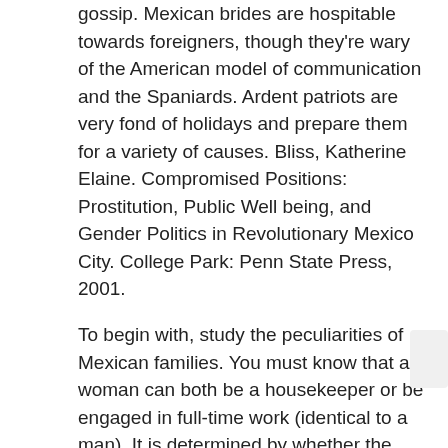gossip. Mexican brides are hospitable towards foreigners, though they're wary of the American model of communication and the Spaniards. Ardent patriots are very fond of holidays and prepare them for a variety of causes. Bliss, Katherine Elaine. Compromised Positions: Prostitution, Public Well being, and Gender Politics in Revolutionary Mexico City. College Park: Penn State Press, 2001.
To begin with, study the peculiarities of Mexican families. You must know that a woman can both be a housekeeper or be engaged in full-time work (identical to a man). It is determined by whether the family is conventional or progressive. Second, you might mexican brides sale want to teach to be a good friend to your girl and respect her decisions and decisions. Third, it's a must to love youngsters as a result of Mexican ladies for marriage can't think about their lives without their youngsters.
Rapid Systems For Mexican